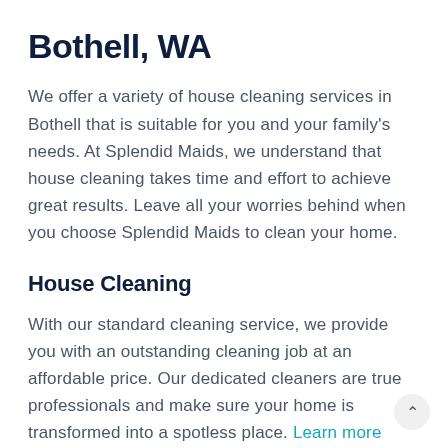Bothell, WA
We offer a variety of house cleaning services in Bothell that is suitable for you and your family's needs. At Splendid Maids, we understand that house cleaning takes time and effort to achieve great results. Leave all your worries behind when you choose Splendid Maids to clean your home.
House Cleaning
With our standard cleaning service, we provide you with an outstanding cleaning job at an affordable price. Our dedicated cleaners are true professionals and make sure your home is transformed into a spotless place. Learn more about our Standard Cleaning.